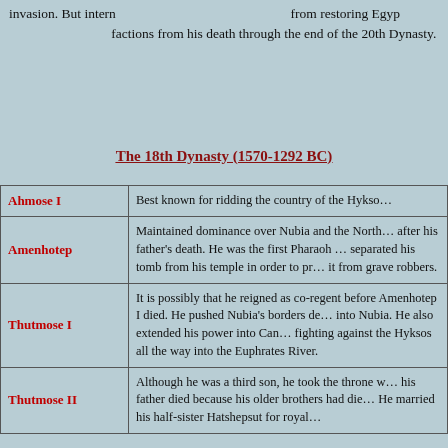invasion. But intern… from restoring Egyp… factions from his death through the end of the 20th Dynasty.
The 18th Dynasty (1570-1292 BC)
| Name | Description |
| --- | --- |
| Ahmose I | Best known for ridding the country of the Hykso… |
| Amenhotep | Maintained dominance over Nubia and the North… after his father's death. He was the first Pharaoh … separated his tomb from his temple in order to pr… it from grave robbers. |
| Thutmose I | It is possibly that he reigned as co-regent before Amenhotep I died. He pushed Nubia's borders de… into Nubia. He also extended his power into Can… fighting against the Hyksos all the way into the Euphrates River. |
| Thutmose II | Although he was a third son, he took the throne w… his father died because his older brothers had die… He married his half-sister Hatshepsut for royal… |